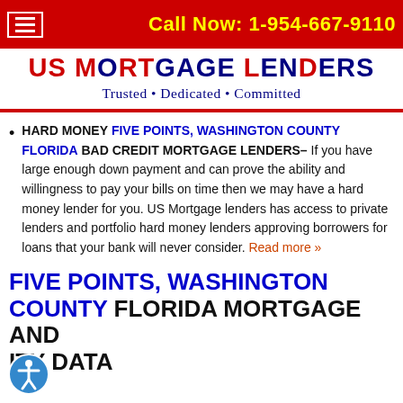Call Now: 1-954-667-9110
US MORTGAGE LENDERS
Trusted • Dedicated • Committed
HARD MONEY FIVE POINTS, WASHINGTON COUNTY FLORIDA BAD CREDIT MORTGAGE LENDERS– If you have large enough down payment and can prove the ability and willingness to pay your bills on time then we may have a hard money lender for you. US Mortgage lenders has access to private lenders and portfolio hard money lenders approving borrowers for loans that your bank will never consider. Read more »
FIVE POINTS, WASHINGTON COUNTY FLORIDA MORTGAGE AND ITY DATA